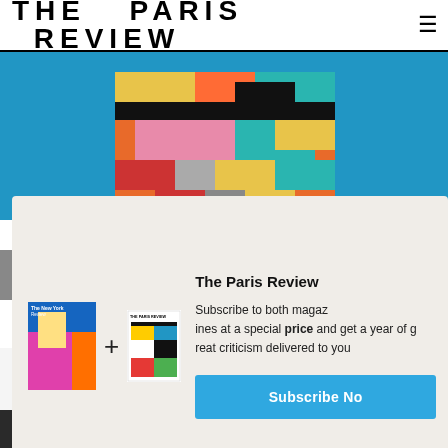THE PARIS REVIEW
[Figure (photo): Colorful geometric patchwork book cover or object on blue background, partially visible at top]
[Figure (infographic): Subscription promotion box with two magazine covers (The New York Review and The Paris Review) joined by a plus sign, with text 'The Paris Review' and 'Subscribe to both magazines at a special price and get a year of great criticism delivered to your door', and a 'Subscribe Now' blue button]
[Figure (photo): Partial view of article images at bottom of page, dark teal and light colored books/magazines]
< > LAST / NEXT ARTICLE    SHARE